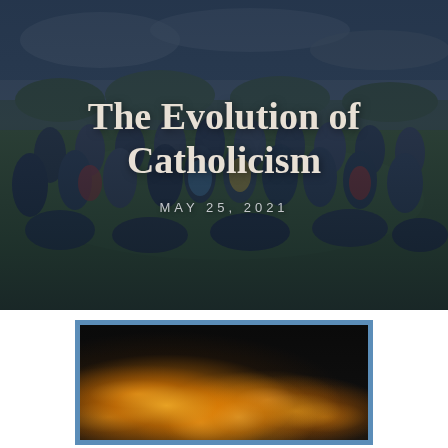[Figure (photo): Group photo of young people outdoors on grass with green landscape and cloudy sky. Dark blue overlay tint covers the image.]
The Evolution of Catholicism
MAY 25, 2021
[Figure (photo): Photo of bokeh candle lights on a dark background, partially framed with a blue border. Only upper portion visible.]